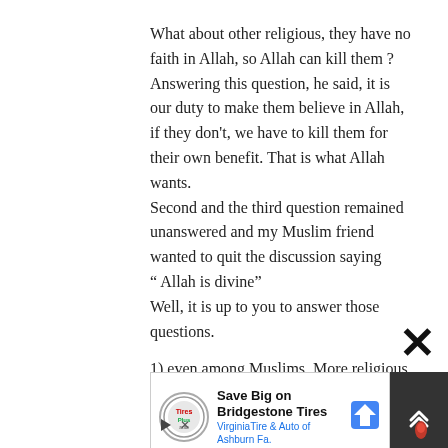What about other religious, they have no faith in Allah, so Allah can kill them ? Answering this question, he said, it is our duty to make them believe in Allah, if they don't, we have to kill them for their own benefit. That is what Allah wants. Second and the third question remained unanswered and my Muslim friend wanted to quit the discussion saying “ Allah is divine”
Well, it is up to you to answer those questions.
1) even among Muslims, More religious
[Figure (screenshot): Advertisement banner: Save Big on Bridgestone Tires - VirginiaTire & Auto of Ashburn Fa. with Tires Plus logo and direction sign icon]